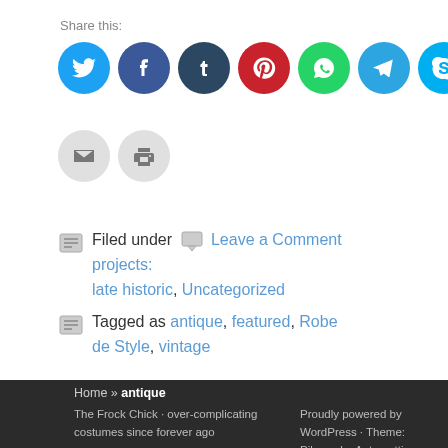Share this:
[Figure (infographic): Row of social media share buttons: Twitter (blue), Facebook (dark blue), Tumblr (dark navy), Pinterest (red), WhatsApp (green), Telegram (light blue), Skype (cyan); second row: Email (grey), Print (grey)]
Filed under  Leave a Comment
projects:
late historic, Uncategorized
Tagged as antique, featured, Robe de Style, vintage
Home » antique
The Frock Chick · over-complicating costumes since forever ago
Proudly powered by WordPress · Theme: Pilcrow by Automattic.